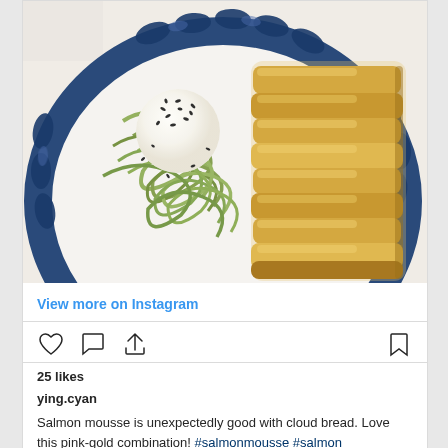[Figure (photo): Food photo showing a blue and white patterned plate with spiralized green zucchini noodles topped with a white mousse ball sprinkled with black sesame seeds, alongside golden layered cloud bread, on a white surface.]
View more on Instagram
[Figure (infographic): Instagram action icons: heart (like), speech bubble (comment), share arrow on left; bookmark icon on right]
25 likes
ying.cyan
Salmon mousse is unexpectedly good with cloud bread. Love this pink-gold combination! #salmonmousse #salmon #cloudbread #lowcarb #strawberry #smoothies #ketorecipes #keto #ketodiet #ketogenic #instafood #instafoodie #instadaily #vsco #vscocam #vscofilter